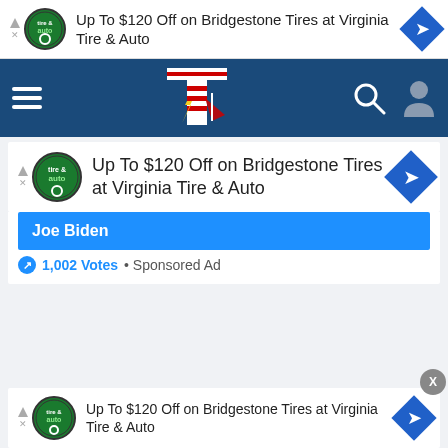[Figure (screenshot): Top ad banner: Virginia Tire & Auto Bridgestone tires ad with logo, text 'Up To $120 Off on Bridgestone Tires at Virginia Tire & Auto', and blue diamond arrow icon]
[Figure (screenshot): Navigation bar with dark blue background, hamburger menu, site logo (T with lightning bolt and American flag), search icon, and user profile icon]
[Figure (screenshot): Second ad banner: Virginia Tire & Auto Bridgestone tires ad with logo, text 'Up To $120 Off on Bridgestone Tires at Virginia Tire & Auto', blue diamond arrow icon]
Joe Biden
1,002 Votes  •  Sponsored Ad
[Figure (screenshot): Bottom ad banner: Virginia Tire & Auto Bridgestone tires ad with logo, text 'Up To $120 Off on Bridgestone Tires at Virginia Tire & Auto', blue diamond arrow icon, and X close button]